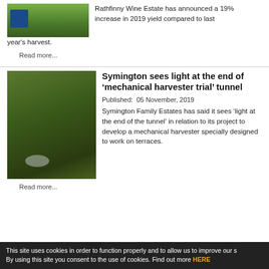[Figure (photo): Aerial/ground view of vineyard with blue harvest bins and vines]
Rathfinny Wine Estate has announced a 19% increase in 2019 yield compared to last year's harvest.
Read more...
[Figure (photo): Aerial view of terraced vineyard with mechanical harvester and smoke]
Symington sees light at the end of ‘mechanical harvester trial’ tunnel
Published:  05 November, 2019
Symington Family Estates has said it sees ‘light at the end of the tunnel’ in relation to its project to develop a mechanical harvester specially designed to work on terraces.
Read more...
This site uses cookies in order to function properly and to allow us to improve our s By using this site you consent to the use of cookies. Find out more HERE